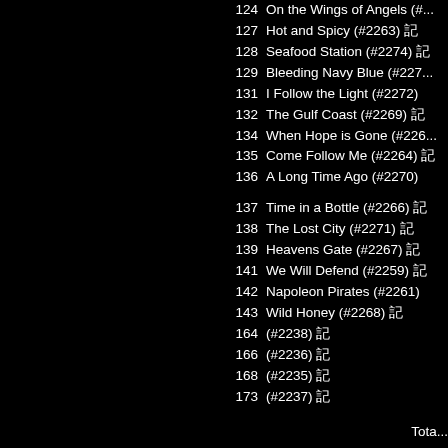124  On the Wings of Angels (#...
127  Hot and Spicy (#2263)
128  Seafood Station (#2274)
129  Bleeding Navy Blue (#227...)
131  I Follow the Light (#2272)
132  The Gulf Coast (#2269)
134  When Hope is Gone (#226...)
135  Come Follow Me (#2264)
136  A Long Time Ago (#2270)
137  Time in a Bottle (#2266)
138  The Lost City (#2271)
139  Heavens Gate (#2267)
141  We Will Defend (#2259)
142  Napoleon Pirates (#2261)
143  Wild Honey (#2268)
164  (#2238)
166  (#2236)
168  (#2235)
173  (#2237)
Tota...
Bac...
Home | Rules | Privacy Policy | Con...